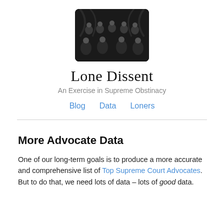[Figure (photo): Black and white photograph of a group of Supreme Court justices seated in formal attire]
Lone Dissent
An Exercise in Supreme Obstinacy
Blog   Data   Loners
More Advocate Data
One of our long-term goals is to produce a more accurate and comprehensive list of Top Supreme Court Advocates. But to do that, we need lots of data – lots of good data.